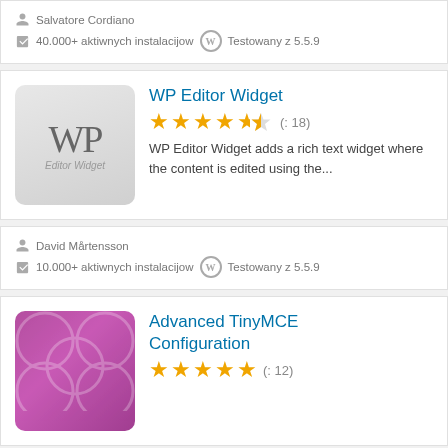Salvatore Cordiano
40.000+ aktiwnych instalacijow   Testowany z 5.5.9
WP Editor Widget
★★★★½ (: 18)
WP Editor Widget adds a rich text widget where the content is edited using the...
David Mårtensson
10.000+ aktiwnych instalacijow   Testowany z 5.5.9
Advanced TinyMCE Configuration
★★★★★ (: 12)